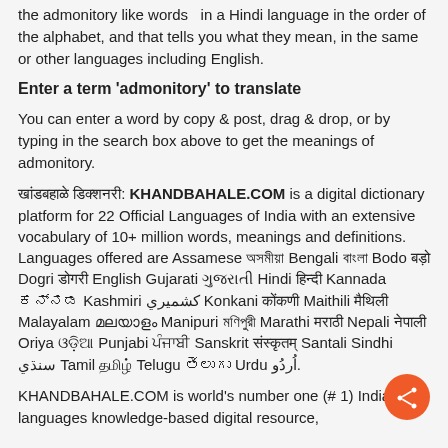the admonitory like words in a Hindi language in the order of the alphabet, and that tells you what they mean, in the same or other languages including English.
Enter a term 'admonitory' to translate
You can enter a word by copy & post, drag & drop, or by typing in the search box above to get the meanings of admonitory.
खांडबहाळे डिक्शनरी: KHANDBAHALE.COM is a digital dictionary platform for 22 Official Languages of India with an extensive vocabulary of 10+ million words, meanings and definitions. Languages offered are Assamese অসমীয়া Bengali বাংলা Bodo बड़ো Dogri डोगरी English Gujarati ગુજરાતી Hindi हिन्दी Kannada ಕನ್ನಡ Kashmiri كشميري Konkani कोंकणी Maithili मैथिली Malayalam മലയാളം Manipuri মণিপুরী Marathi मराठी Nepali नेपाली Oriya ଓଡ଼ିଆ Punjabi ਪੰਜਾਬੀ Sanskrit संस्कृतम् Santali Sindhi سنڌي Tamil தமிழ் Telugu తెలుగు Urdu اُردُو.
KHANDBAHALE.COM is world's number one (# 1) Indian languages knowledge-based digital resource,